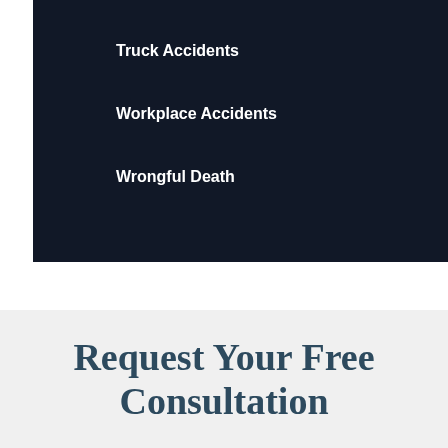Truck Accidents
Workplace Accidents
Wrongful Death
Request Your Free Consultation